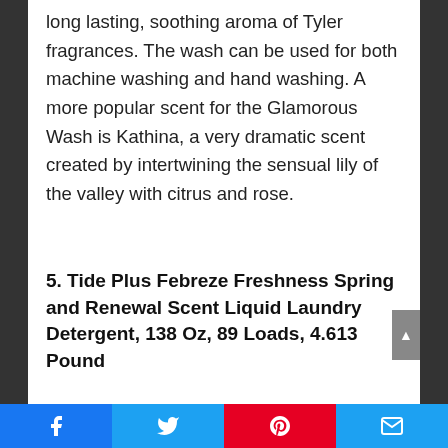long lasting, soothing aroma of Tyler fragrances. The wash can be used for both machine washing and hand washing. A more popular scent for the Glamorous Wash is Kathina, a very dramatic scent created by intertwining the sensual lily of the valley with citrus and rose.
5. Tide Plus Febreze Freshness Spring and Renewal Scent Liquid Laundry Detergent, 138 Oz, 89 Loads, 4.613 Pound
[Figure (photo): Partial product images at bottom of page - left shows a light-colored bottle/container, right shows a dark navy bottle]
Social sharing bar: Facebook, Twitter, Pinterest, Email